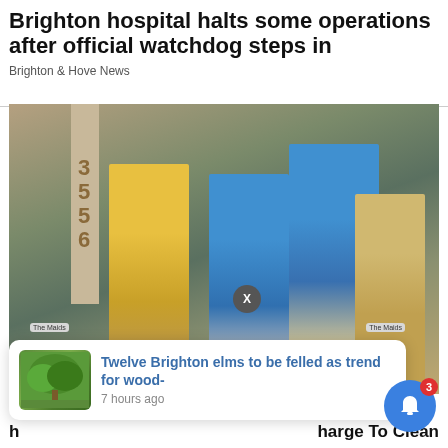Brighton hospital halts some operations after official watchdog steps in
Brighton & Hove News
[Figure (photo): Four cleaning service workers in yellow and blue uniforms standing in front of a house door with a floral wreath, holding cleaning supplies and buckets labeled 'The Maids']
harge To Clean
[Figure (photo): Notification popup: thumbnail of a large tree on a lawn, with headline 'Twelve Brighton elms to be felled as trend for wood-' and timestamp '7 hours ago']